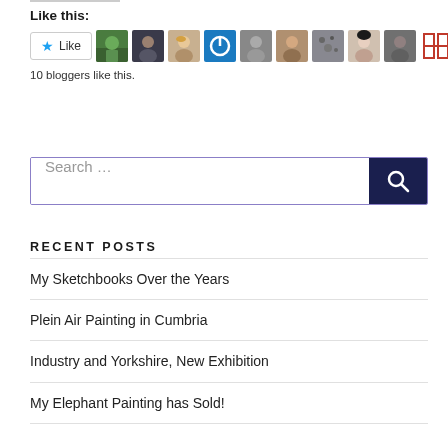Like this:
[Figure (screenshot): Like button with star icon and 10 blogger avatar thumbnails]
10 bloggers like this.
[Figure (screenshot): Search input field with dark navy search button containing magnifying glass icon]
RECENT POSTS
My Sketchbooks Over the Years
Plein Air Painting in Cumbria
Industry and Yorkshire, New Exhibition
My Elephant Painting has Sold!